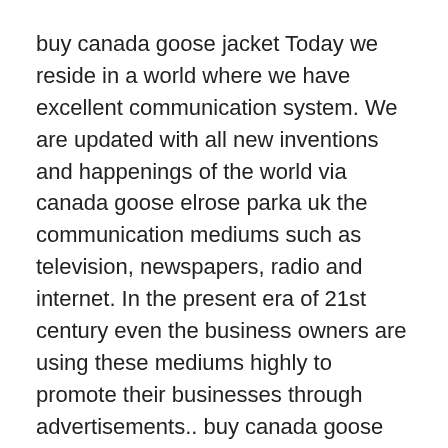buy canada goose jacket Today we reside in a world where we have excellent communication system. We are updated with all new inventions and happenings of the world via canada goose elrose parka uk the communication mediums such as television, newspapers, radio and internet. In the present era of 21st century even the business owners are using these mediums highly to promote their businesses through advertisements.. buy canada goose jacket
Canada Goose Outlet Perhaps there is a debuff, anticipate bistro foods such as 15 seconds, a buff, abiding 30 seconds, which reduces the capability of aliment to eat. This will absolute the use of aliment does not absolutely abolish it, so that Warlock is a admired asset. So you, as the Association of the present